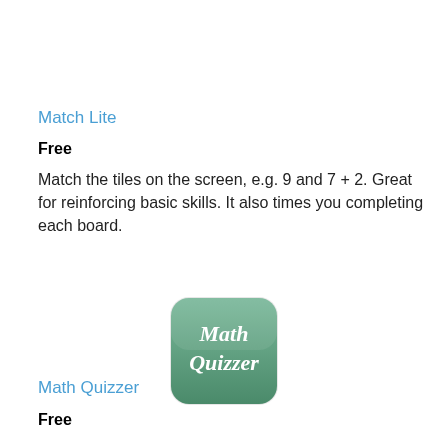Match Lite
Free
Match the tiles on the screen, e.g. 9 and 7 + 2. Great for reinforcing basic skills. It also times you completing each board.
[Figure (illustration): Math Quizzer app icon — rounded square with green gradient background, white text reading 'Math Quizzer' in a handwritten style font]
Math Quizzer
Free